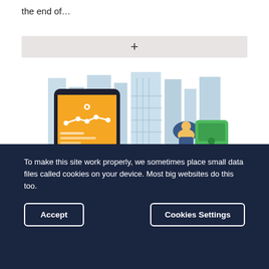the end of…
[Figure (other): Expand/collapse toggle bar with a plus (+) symbol]
[Figure (illustration): Illustration showing a mobile phone with a route map on an orange screen, city buildings in the background, and a cyclist with a green bag]
To make this site work properly, we sometimes place small data files called cookies on your device. Most big websites do this too.
Accept
Cookies Settings